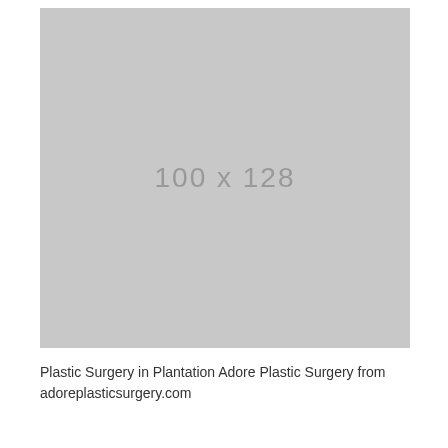[Figure (photo): Placeholder image (100 x 128) for a photo related to Plastic Surgery in Plantation Adore Plastic Surgery]
Plastic Surgery in Plantation Adore Plastic Surgery from adoreplasticsurgery.com